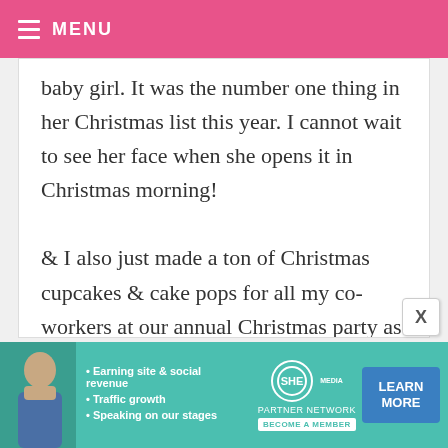MENU
baby girl. It was the number one thing in her Christmas list this year. I cannot wait to see her face when she opens it in Christmas morning!

& I also just made a ton of Christmas cupcakes & cake pops for all my co-workers at our annual Christmas party as a gift to them. They all rave about my baking so I had to go all out for the holidays!
[Figure (infographic): SHE Media Partner Network advertisement banner with photo of a woman, bullet points about earning site & social revenue, traffic growth, speaking on stages, SHE logo, BECOME A MEMBER button, and LEARN MORE button]